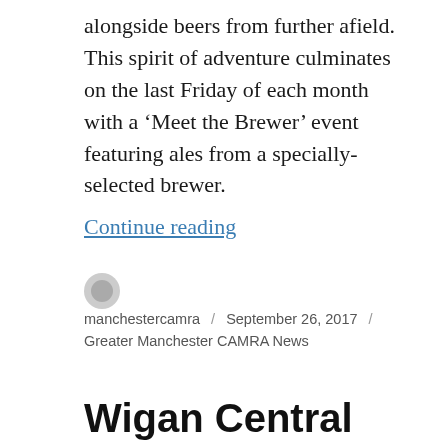alongside beers from further afield. This spirit of adventure culminates on the last Friday of each month with a ‘Meet the Brewer’ event featuring ales from a specially-selected brewer.
Continue reading
manchestercamra / September 26, 2017 / Greater Manchester CAMRA News
Wigan Central leaves the rest in its tracks
[Figure (other): Broken image placeholder with label 'Wigan Central']
Wigan Central